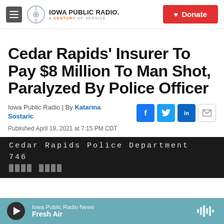Iowa Public Radio. A Century of Service. | Donate
Cedar Rapids' Insurer To Pay $8 Million To Man Shot, Paralyzed By Police Officer
Iowa Public Radio | By Katarina Sostaric
Published April 19, 2021 at 7:15 PM CDT
[Figure (photo): Dark image showing Cedar Rapids Police Department 746 text on what appears to be a vehicle door]
Iowa Public Radio News | Fresh Air